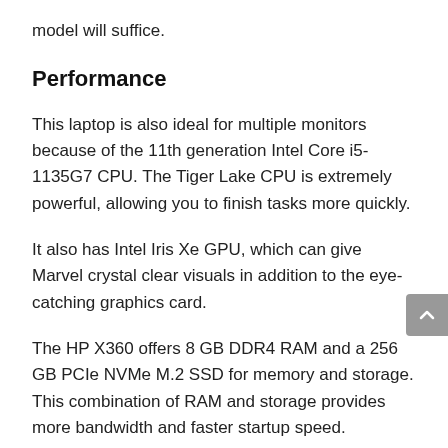model will suffice.
Performance
This laptop is also ideal for multiple monitors because of the 11th generation Intel Core i5-1135G7 CPU. The Tiger Lake CPU is extremely powerful, allowing you to finish tasks more quickly.
It also has Intel Iris Xe GPU, which can give Marvel crystal clear visuals in addition to the eye-catching graphics card.
The HP X360 offers 8 GB DDR4 RAM and a 256 GB PCIe NVMe M.2 SSD for memory and storage. This combination of RAM and storage provides more bandwidth and faster startup speed.